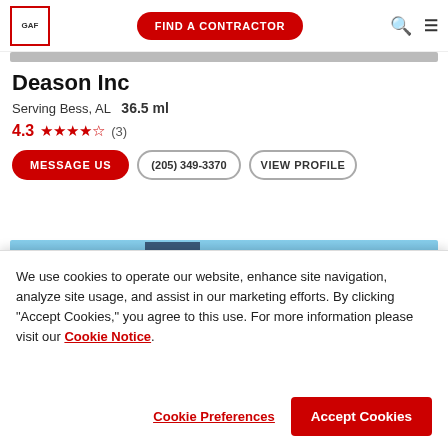GAF — FIND A CONTRACTOR
Deason Inc
Serving Bess, AL   36.5 ml
4.3 ★★★★½ (3)
MESSAGE US   (205) 349-3370   VIEW PROFILE
[Figure (photo): Cityscape photo showing blue sky and office buildings]
We use cookies to operate our website, enhance site navigation, analyze site usage, and assist in our marketing efforts. By clicking "Accept Cookies," you agree to this use. For more information please visit our Cookie Notice.
Cookie Preferences   Accept Cookies